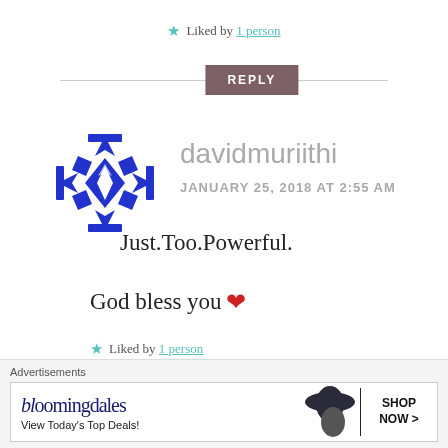★ Liked by 1 person
REPLY
[Figure (logo): Blue geometric quilt-pattern avatar icon for user davidmuriithi]
davidmuriithi
JANUARY 25, 2018 AT 2:55 AM
Just.Too.Powerful.
God bless you ❤
★ Liked by 1 person
REPLY
Advertisements
[Figure (screenshot): Bloomingdale's advertisement banner: 'bloomingdales / View Today's Top Deals!' with woman in hat and SHOP NOW > button]